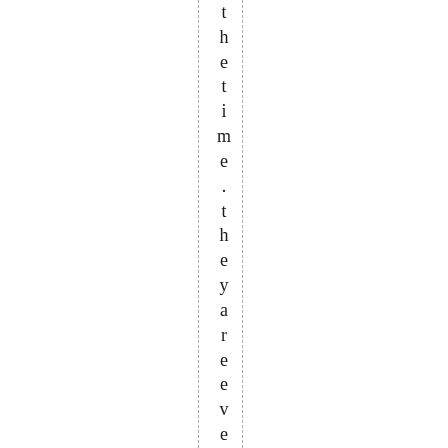the time .they are even greater for thi